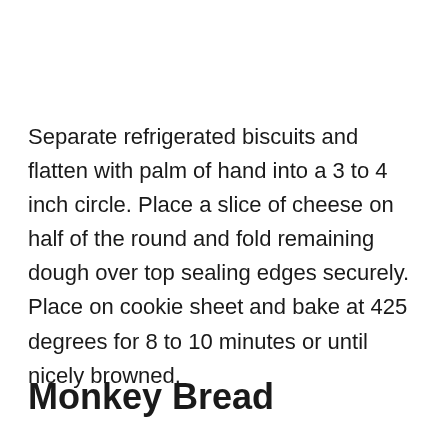Separate refrigerated biscuits and flatten with palm of hand into a 3 to 4 inch circle. Place a slice of cheese on half of the round and fold remaining dough over top sealing edges securely. Place on cookie sheet and bake at 425 degrees for 8 to 10 minutes or until nicely browned.
Monkey Bread